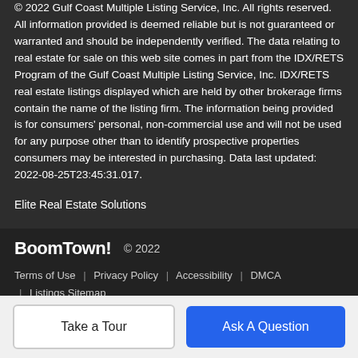© 2022 Gulf Coast Multiple Listing Service, Inc. All rights reserved. All information provided is deemed reliable but is not guaranteed or warranted and should be independently verified. The data relating to real estate for sale on this web site comes in part from the IDX/RETS Program of the Gulf Coast Multiple Listing Service, Inc. IDX/RETS real estate listings displayed which are held by other brokerage firms contain the name of the listing firm. The information being provided is for consumers' personal, non-commercial use and will not be used for any purpose other than to identify prospective properties consumers may be interested in purchasing. Data last updated: 2022-08-25T23:45:31.017.
Elite Real Estate Solutions
BoomTown! © 2022 | Terms of Use | Privacy Policy | Accessibility | DMCA | Listings Sitemap
Take a Tour
Ask A Question